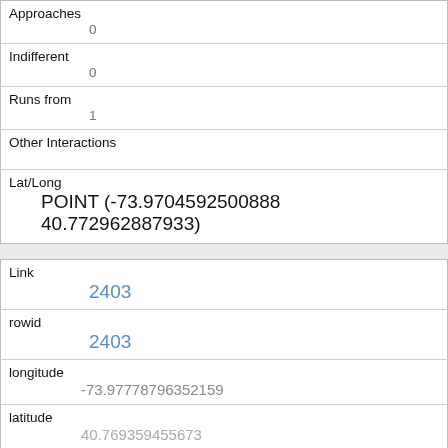| Approaches | 0 |
| Indifferent | 0 |
| Runs from | 1 |
| Other Interactions |  |
| Lat/Long | POINT (-73.9704592500888 40.772962887933) |
| Link | 2403 |
| rowid | 2403 |
| longitude | -73.97778796352159 |
| latitude | 40.769359455673 |
| Unique Squirrel ID | 4C-AM-1006-03 |